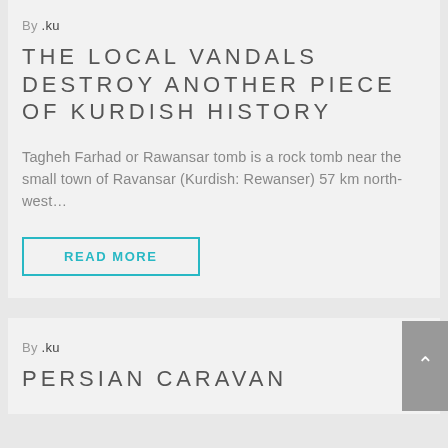By .ku
THE LOCAL VANDALS DESTROY ANOTHER PIECE OF KURDISH HISTORY
Tagheh Farhad or Rawansar tomb is a rock tomb near the small town of Ravansar (Kurdish: Rewanser) 57 km north-west…
READ MORE
By .ku
PERSIAN CARAVAN